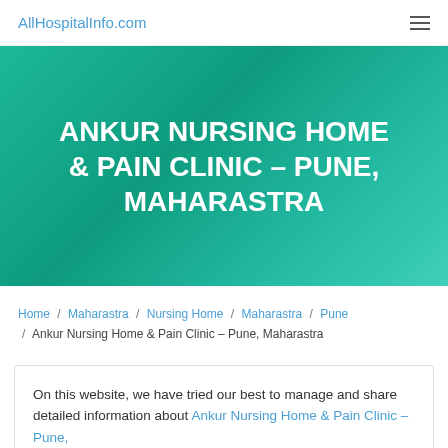AllHospitalInfo.com
ANKUR NURSING HOME & PAIN CLINIC – PUNE, MAHARASTRA
Home / Maharastra / Nursing Home / Maharastra / Pune / Ankur Nursing Home & Pain Clinic – Pune, Maharastra
On this website, we have tried our best to manage and share detailed information about Ankur Nursing Home & Pain Clinic – Pune,